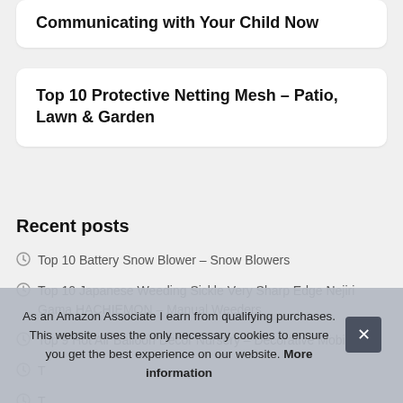Communicating with Your Child Now
Top 10 Protective Netting Mesh – Patio, Lawn & Garden
Recent posts
Top 10 Battery Snow Blower – Snow Blowers
Top 10 Japanese Weeding Sickle Very Sharp Edge Nejiri Gama HACHIEMON – Manual Weeders
Top 9 Hot Air Balloon Decor Nursery – Decorative Mobiles
T [truncated]
T [truncated] Pow [truncated]
As an Amazon Associate I earn from qualifying purchases. This website uses the only necessary cookies to ensure you get the best experience on our website. More information